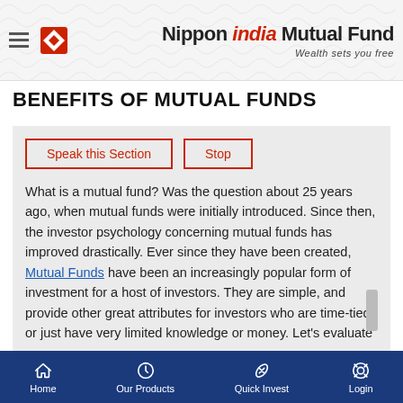[Figure (logo): Nippon India Mutual Fund logo with diamond icon and tagline 'Wealth sets you free' on decorative wave pattern background]
BENEFITS OF MUTUAL FUNDS
Speak this Section | Stop
What is a mutual fund? Was the question about 25 years ago, when mutual funds were initially introduced. Since then, the investor psychology concerning mutual funds has improved drastically. Ever since they have been created, Mutual Funds have been an increasingly popular form of investment for a host of investors. They are simple, and provide other great attributes for investors who are time-tied or just have very limited knowledge or money. Let's evaluate
Home | Our Products | Quick Invest | Login